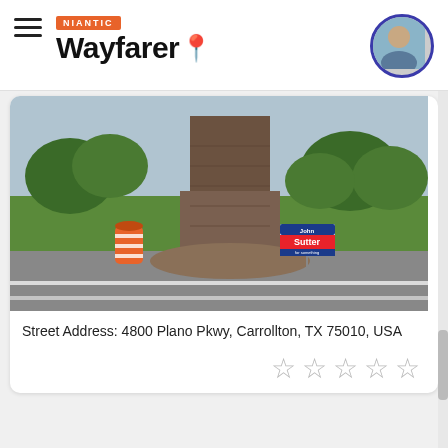NIANTIC Wayfarer
[Figure (photo): Outdoor photo showing a large stone/brick pillar or monument near a road intersection, with trees in background, an orange construction barrel on the left, and a political campaign sign reading 'John Sutter' in the middle ground. Road visible in foreground.]
Street Address: 4800 Plano Pkwy, Carrollton, TX 75010, USA
Title and Description
Title and description should not contain inappropriate text. Description is not required